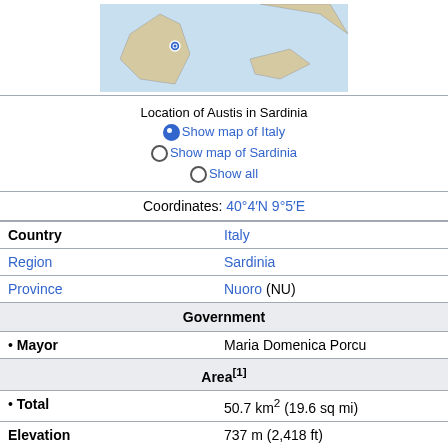[Figure (map): Map showing location of Austis in Sardinia, Italy]
Location of Austis in Sardinia
●Show map of Italy
○Show map of Sardinia
○Show all
Coordinates: 40°4′N 9°5′E
| Field | Value |
| --- | --- |
| Country | Italy |
| Region | Sardinia |
| Province | Nuoro (NU) |
| Government |  |
| • Mayor | Maria Domenica Porcu |
| Area[1] |  |
| • Total | 50.7 km² (19.6 sq mi) |
| Elevation | 737 m (2,418 ft) |
| Population (30 April 2017)[3] |  |
| • Total | 816 |
| • Density | 16/km² (42/sq mi) |